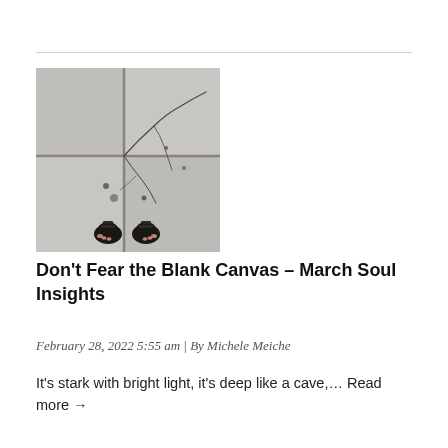[Figure (photo): Black and white overhead photo of cracked concrete sidewalk/floor with a pair of dark sandals/feet visible at the bottom center of the image.]
Don't Fear the Blank Canvas – March Soul Insights
February 28, 2022 5:55 am | By Michele Meiche
It's stark with bright light, it's deep like a cave,… Read more →